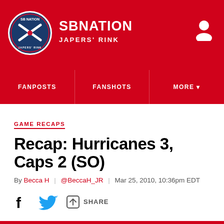SBNATION JAPERS' RINK
FANPOSTS | FANSHOTS | MORE
GAME RECAPS
Recap: Hurricanes 3, Caps 2 (SO)
By Becca H | @BeccaH_JR | Mar 25, 2010, 10:36pm EDT
SHARE